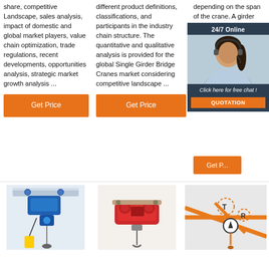share, competitive Landscape, sales analysis, impact of domestic and global market players, value chain optimization, trade regulations, recent developments, opportunities analysis, strategic market growth analysis ...
[Figure (other): Orange 'Get Price' button]
different product definitions, classifications, and participants in the industry chain structure. The quantitative and qualitative analysis is provided for the global Single Girder Bridge Cranes market considering competitive landscape ...
[Figure (other): Orange 'Get Price' button]
depending on the span of the crane. A girder structure can also be employed to save weight or to reduce the wind force for outdoor ...
[Figure (other): Orange 'Get R...' button]
[Figure (other): 24/7 Online chat popup with woman wearing headset, 'Click here for free chat!' and QUOTATION button]
[Figure (photo): Blue electric chain hoist on beam]
[Figure (photo): Red electric wire rope hoist]
[Figure (engineering-diagram): Orange crane bridge diagram with hook and T/R labels]